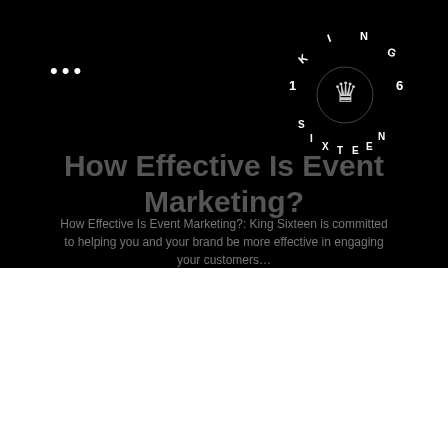[Figure (logo): King Sixteen circular logo with crown image in center and letters arranged in a circle spelling KING SIXTEEN with numbers 1 and 6]
How Effective Is Event Marketing?
How Effective Is Event Marketing?: King Sixteen is committed to helping you and your brand be more effective in engaging your customers…
and ensure walking areas are wide enough for everyone to navigate comfortably.
Outlets are likely to be scarce at an outdoor venue, so plan for electricity. Wireless chargers and power banks will give life to mobile devices, but you also need to power…